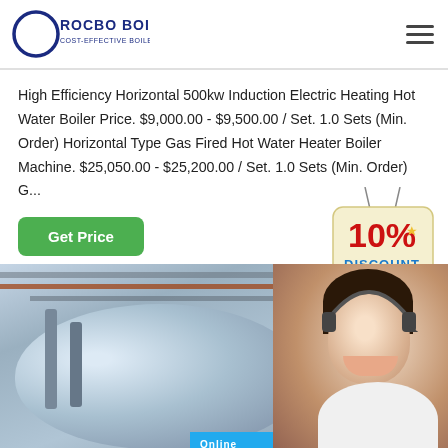[Figure (logo): Rocbo Boiler logo with crescent moon icon and text 'ROCBO BOILER / COST-EFFECTIVE BOILER SUPPLIER']
High Efficiency Horizontal 500kw Induction Electric Heating Hot Water Boiler Price. $9,000.00 - $9,500.00 / Set. 1.0 Sets (Min. Order) Horizontal Type Gas Fired Hot Water Heater Boiler Machine. $25,050.00 - $25,200.00 / Set. 1.0 Sets (Min. Order) G...
Get Price
[Figure (infographic): 10% DISCOUNT badge hanging sign]
[Figure (photo): Industrial boiler equipment in factory setting with customer service representative overlay and 'Online' bar at bottom]